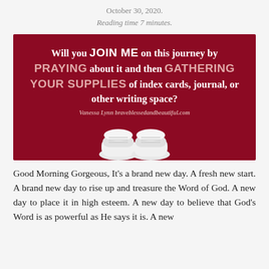October 30, 2020.
Reading time 7 minutes.
[Figure (illustration): Dark red/crimson background image with white text: 'Will you JOIN ME on this journey by PRAYING about it and then GATHERING YOUR SUPPLIES of index cards, journal, or other writing space?' with white sneakers visible at the bottom and attribution 'Vanessa Lynn braveblessedandbeautiful.com']
Good Morning Gorgeous, It's a brand new day. A fresh new start. A brand new day to rise up and treasure the Word of God. A new day to place it in high esteem. A new day to believe that God's Word is as powerful as He says it is. A new